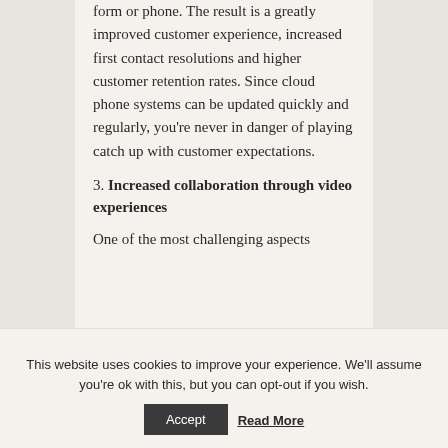form or phone. The result is a greatly improved customer experience, increased first contact resolutions and higher customer retention rates. Since cloud phone systems can be updated quickly and regularly, you're never in danger of playing catch up with customer expectations.
3. Increased collaboration through video experiences
One of the most challenging aspects
This website uses cookies to improve your experience. We'll assume you're ok with this, but you can opt-out if you wish.
Accept
Read More